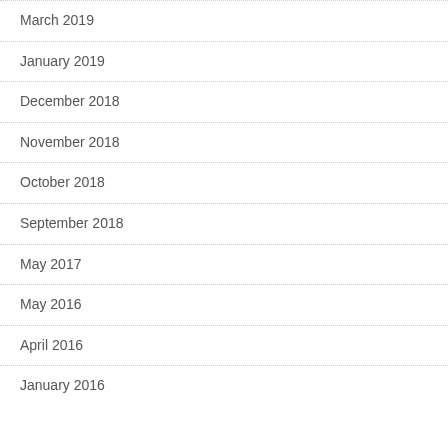March 2019
January 2019
December 2018
November 2018
October 2018
September 2018
May 2017
May 2016
April 2016
January 2016